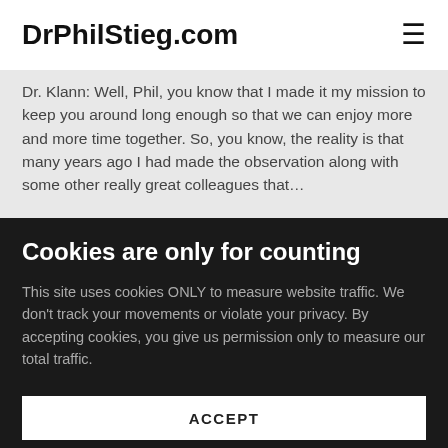DrPhilStieg.com
Dr. Klann: Well, Phil, you know that I made it my mission to keep you around long enough so that we can enjoy more and more time together. So, you know, the reality is that many years ago I had made the observation along with some other really great colleagues that...
Cookies are only for counting
This site uses cookies ONLY to measure website traffic. We don't track your movements or violate your privacy. By accepting cookies, you give us permission only to measure our total traffic.
ACCEPT